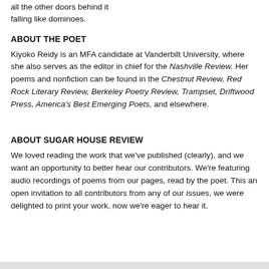all the other doors behind it
falling like dominoes.
ABOUT THE POET
Kiyoko Reidy is an MFA candidate at Vanderbilt University, where she also serves as the editor in chief for the Nashville Review. Her poems and nonfiction can be found in the Chestnut Review, Red Rock Literary Review, Berkeley Poetry Review, Trampset, Driftwood Press, America's Best Emerging Poets, and elsewhere.
ABOUT SUGAR HOUSE REVIEW
We loved reading the work that we've published (clearly), and we want an opportunity to better hear our contributors. We're featuring audio recordings of poems from our pages, read by the poet. This an open invitation to all contributors from any of our issues, we were delighted to print your work, now we're eager to hear it.